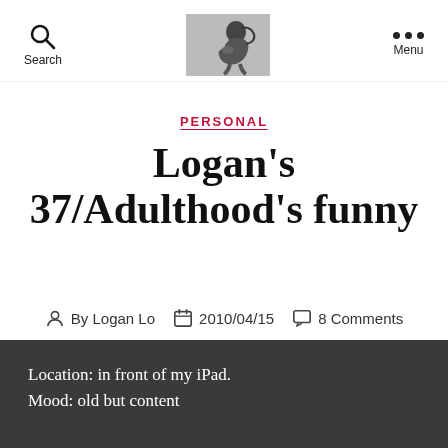Search | [logo image] | Menu
PERSONAL
Logan's 37/Adulthood's funny
By Logan Lo  2010/04/15  8 Comments
Location: in front of my iPad.
Mood: old but content